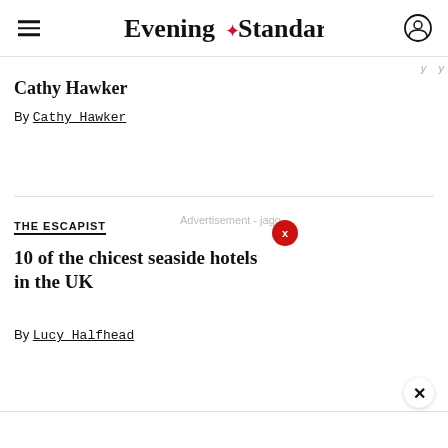Evening Standard
Cathy Hawker
By Cathy Hawker
THE ESCAPIST
Advertisement - jago
10 of the chicest seaside hotels in the UK
By Lucy Halfhead